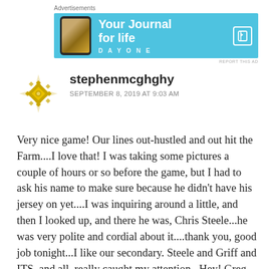[Figure (other): Advertisement banner for Day One journal app with blue background, phone image, and text 'Your Journal for life']
stephenmcghghy
SEPTEMBER 8, 2019 AT 9:03 AM
Very nice game! Our lines out-hustled and out hit the Farm....I love that! I was taking some pictures a couple of hours or so before the game, but I had to ask his name to make sure because he didn't have his jersey on yet....I was inquiring around a little, and then I looked up, and there he was, Chris Steele...he was very polite and cordial about it....thank you, good job tonight...I like our secondary. Steele and Griff and ITS, and all, really caught my attention ..Hey! Greg Johnson, way to get the drop on 6'7" Parkinson..big time hustle and awareness!